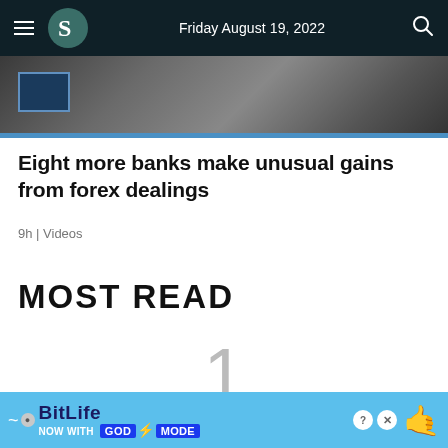Friday August 19, 2022
[Figure (screenshot): Partial hero image showing people in dark setting, with play button overlay and blue accent bar at bottom]
Eight more banks make unusual gains from forex dealings
9h | Videos
MOST READ
1
[Figure (other): Advertisement banner for BitLife game: 'NOW WITH GOD MODE' with lightning bolt graphic and hand pointing]